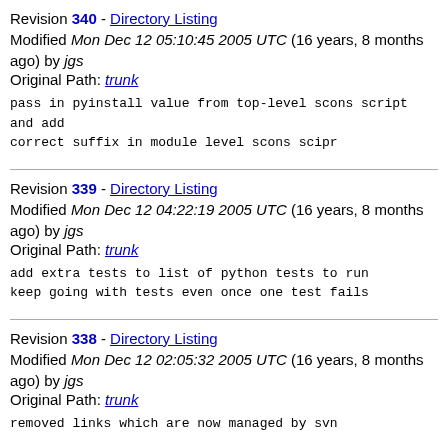Revision 340 - Directory Listing
Modified Mon Dec 12 05:10:45 2005 UTC (16 years, 8 months ago) by jgs
Original Path: trunk
pass in pyinstall value from top-level scons script and add
correct suffix in module level scons scipr
Revision 339 - Directory Listing
Modified Mon Dec 12 04:22:19 2005 UTC (16 years, 8 months ago) by jgs
Original Path: trunk
add extra tests to list of python tests to run
keep going with tests even once one test fails
Revision 338 - Directory Listing
Modified Mon Dec 12 02:05:32 2005 UTC (16 years, 8 months ago) by jgs
Original Path: trunk
removed links which are now managed by svn